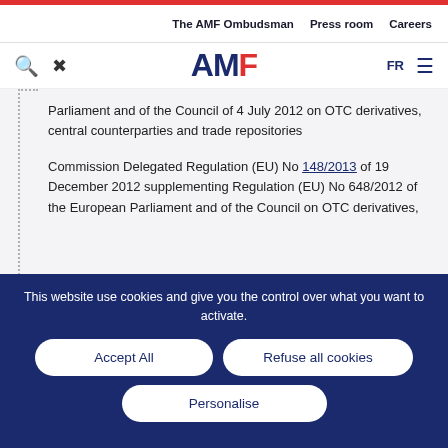The AMF Ombudsman | Press room | Careers
[Figure (logo): AMF logo with search, tools icons and FR language selector and hamburger menu]
Parliament and of the Council of 4 July 2012 on OTC derivatives, central counterparties and trade repositories
Commission Delegated Regulation (EU) No 148/2013 of 19 December 2012 supplementing Regulation (EU) No 648/2012 of the European Parliament and of the Council on OTC derivatives,
This website use cookies and give you the control over what you want to activate.
Accept All
Refuse all cookies
Personalise